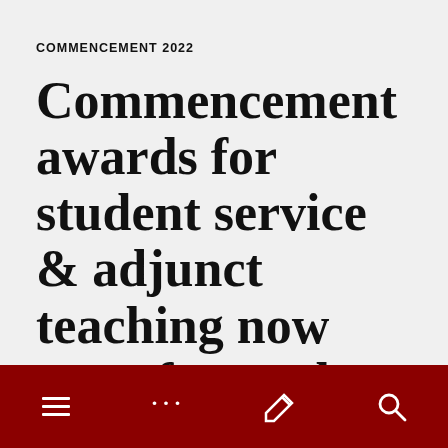COMMENCEMENT 2022
Commencement awards for student service & adjunct teaching now open for student nominations
FEBRUARY 22, 2022
[Figure (other): Dark red navigation toolbar with hamburger menu, ellipsis, wrench, and search icons in white]